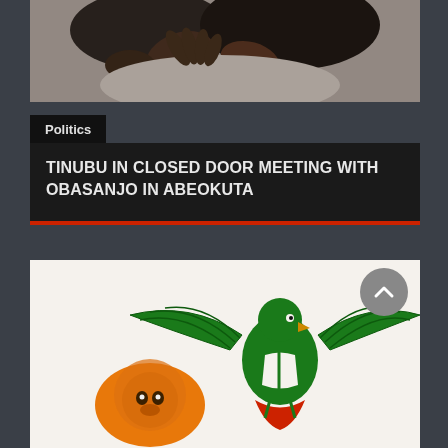[Figure (photo): Top cropped photo showing hands and figures in white clothing, dark background]
Politics
TINUBU IN CLOSED DOOR MEETING WITH OBASANJO IN ABEOKUTA
[Figure (photo): Bottom image showing Nigerian coat of arms eagle (green) and another logo/symbol, white background]